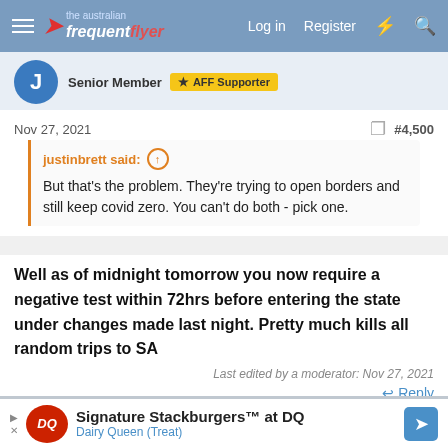The Australian Frequent Flyer — Log in | Register
Senior Member  AFF Supporter
Nov 27, 2021  #4,500
justinbrett said: But that's the problem. They're trying to open borders and still keep covid zero. You can't do both - pick one.
Well as of midnight tomorrow you now require a negative test within 72hrs before entering the state under changes made last night. Pretty much kills all random trips to SA
Last edited by a moderator: Nov 27, 2021
Reply
Pushka
Signature Stackburgers™ at DQ — Dairy Queen (Treat)